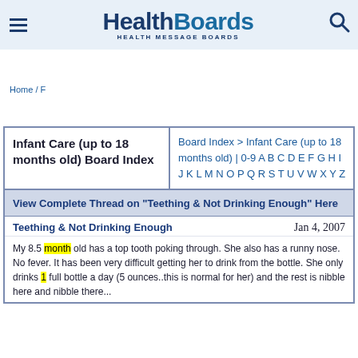HealthBoards HEALTH MESSAGE BOARDS
Home / F
Infant Care (up to 18 months old) Board Index
Board Index > Infant Care (up to 18 months old) | 0-9 A B C D E F G H I J K L M N O P Q R S T U V W X Y Z
View Complete Thread on "Teething & Not Drinking Enough" Here
Teething & Not Drinking Enough   Jan 4, 2007
My 8.5 month old has a top tooth poking through. She also has a runny nose. No fever. It has been very difficult getting her to drink from the bottle. She only drinks 1 full bottle a day (5 ounces..this is normal for her) and the rest is nibble here and nibble there...